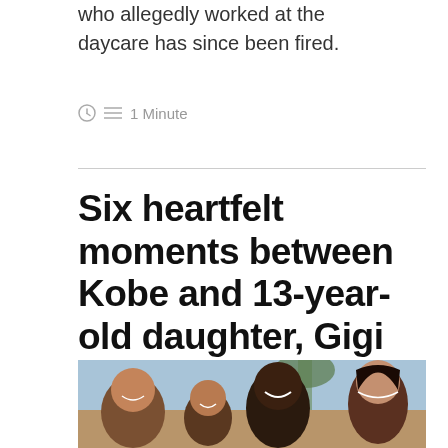who allegedly worked at the daycare has since been fired.
1 Minute
Six heartfelt moments between Kobe and 13-year-old daughter, Gigi
[Figure (photo): Family selfie photo showing Kobe Bryant smiling with family members including daughters and wife outdoors with palm trees in background]